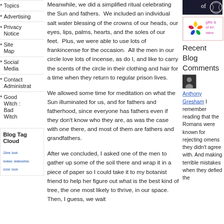Topics
Advertising
Privacy Notice
Site Map
Social Media
Contact Administrator
Good Witch : Bad Witch
Blog Tag Cloud
China book reviews relationships crone snow
Meanwhile, we did a simplified ritual celebrating the Sun and fathers.  We included an individual salt water blessing of the crowns of our heads, our eyes, lips, palms, hearts, and the soles of our feet.  Plus, we were able to use lots of frankincense for the occasion.  All the men in our circle love lots of incense, as do I, and like to carry the scents of the circle in their clothing and hair for a time when they return to regular prison lives.
We allowed some time for meditation on what the Sun illuminated for us, and for fathers and fatherhood, since everyone has fathers even if they don't know who they are, as was the case with one there, and most of them are fathers and grandfathers.
After we concluded, I asked one of the men to gather up some of the soil there and wrap it in a piece of paper so I could take it to my botanist friend to help her figure out what is the best kind of tree, the one most likely to thrive, in our space.  Then, I guess, we wait
Recent Blog Comments
[Figure (photo): Dark background with swirling white design]
[Figure (photo): Colorful flower/star graphic with text: gifts & of en rains]
[Figure (photo): Small avatar photo of a person]
Anthony Gresham I remember reading that the Romans were known for rejecting omens they didn't agree with. And making terrible mistakes when they defied the